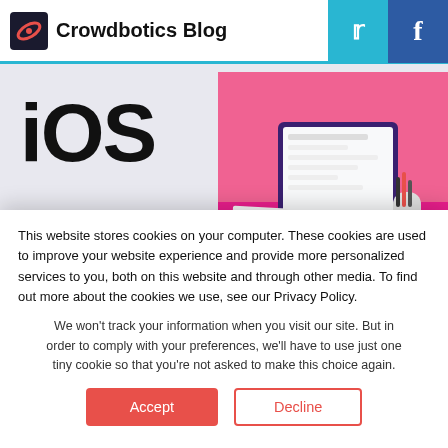Crowdbotics Blog
[Figure (screenshot): Blog article preview showing large 'iOS' text on left and isometric illustration of a computer workstation on a pink background on the right. Below the image area: 'CROWDBOTICS' label, 'IOS' category tag, and partial article title.]
This website stores cookies on your computer. These cookies are used to improve your website experience and provide more personalized services to you, both on this website and through other media. To find out more about the cookies we use, see our Privacy Policy.
We won't track your information when you visit our site. But in order to comply with your preferences, we'll have to use just one tiny cookie so that you're not asked to make this choice again.